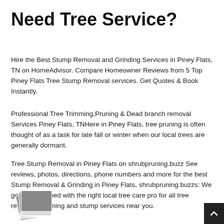Need Tree Service?
Hire the Best Stump Removal and Grinding Services in Piney Flats, TN on HomeAdvisor. Compare Homeowner Reviews from 5 Top Piney Flats Tree Stump Removal services. Get Quotes & Book Instantly.
Professional Tree Trimming,Pruning & Dead branch removal Services Piney Flats, TNHere in Piney Flats, tree pruning is often thought of as a task for late fall or winter when our local trees are generally dormant.
Tree Stump Removal in Piney Flats on shrubpruning.buzz See reviews, photos, directions, phone numbers and more for the best Stump Removal & Grinding in Piney Flats, shrubpruning.buzzs: We get you matched with the right local tree care pro for all tree removal, trimming and stump services near you.
[Figure (photo): Stack of photo thumbnails icon, gray tones, overlapping polaroid-style images]